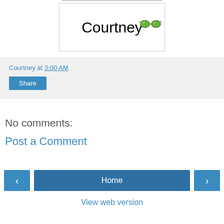[Figure (logo): Courtney blog logo with cursive text 'Courtney' and a green bow tie graphic in a white bordered box]
Courtney at 3:00 AM
Share
No comments:
Post a Comment
< Home > View web version